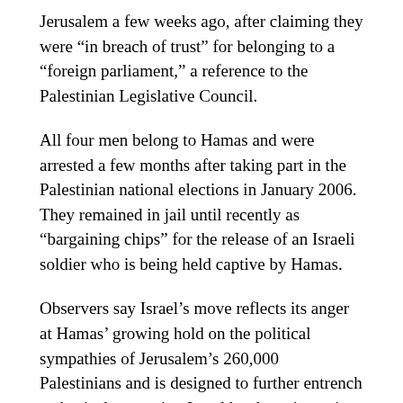Jerusalem a few weeks ago, after claiming they were “in breach of trust” for belonging to a “foreign parliament,” a reference to the Palestinian Legislative Council.
All four men belong to Hamas and were arrested a few months after taking part in the Palestinian national elections in January 2006. They remained in jail until recently as “bargaining chips” for the release of an Israeli soldier who is being held captive by Hamas.
Observers say Israel’s move reflects its anger at Hamas’ growing hold on the political sympathies of Jerusalem’s 260,000 Palestinians and is designed to further entrench a physical separation Israel has been imposing on East Jerusalem and the rest of the West Bank.
Israel has not said where the three MPs and a former cabinet minister will be expelled to. The loss of residency effectively leaves the politicians stateless, in breach of international law